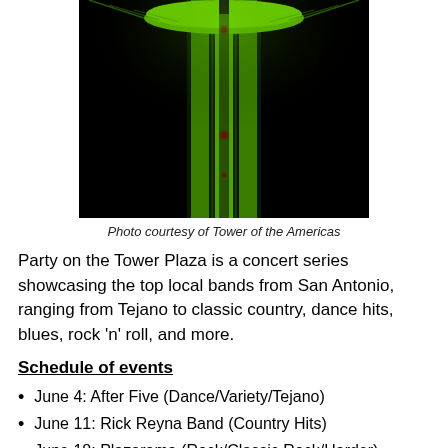[Figure (photo): Nighttime photo of the Tower of the Americas glowing green against a black sky, taken from below looking up the tower shaft.]
Photo courtesy of Tower of the Americas
Party on the Tower Plaza is a concert series showcasing the top local bands from San Antonio, ranging from Tejano to classic country, dance hits, blues, rock 'n' roll, and more.
Schedule of events
June 4: After Five (Dance/Variety/Tejano)
June 11: Rick Reyna Band (Country Hits)
June 18: Plazarama (Rock/Classic Rock/Harder)